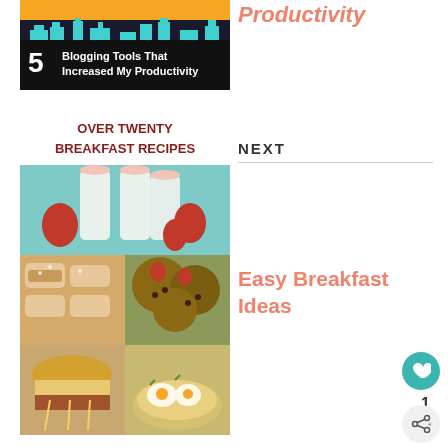[Figure (photo): Blog post thumbnail: '5 Blogging Tools That Increased My Productivity' with orange/teal city skyline background]
Productivity
NEXT
[Figure (photo): Collage of over twenty breakfast recipes including smoothies with strawberries, pastries, oatmeal cookies, breakfast sandwiches, and egg dishes]
Easy Breakfast Ideas